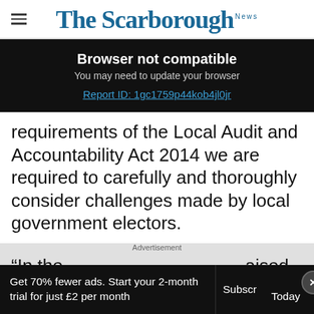The Scarborough News
Browser not compatible
You may need to update your browser
Report ID: 1gc1759p44kob4jl0jr
requirements of the Local Audit and Accountability Act 2014 we are required to carefully and thoroughly consider challenges made by local government electors.
Advertisement
“In the … aised
Get 70% fewer ads. Start your 2-month trial for just £2 per month
Subscribe Today